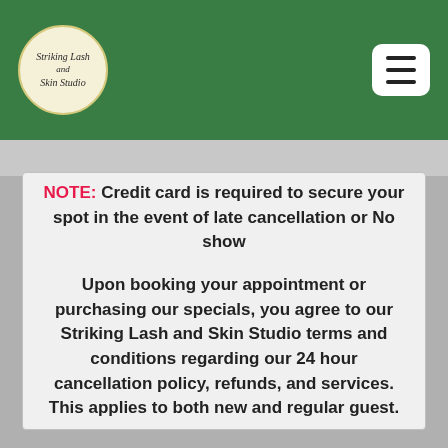Striking Lash and Skin Studio — navigation header with logo and hamburger menu
NOTE: Credit card is required to secure your spot in the event of late cancellation or No show
Upon booking your appointment or purchasing our specials, you agree to our Striking Lash and Skin Studio terms and conditions regarding our 24 hour cancellation policy, refunds, and services. This applies to both new and regular guest.